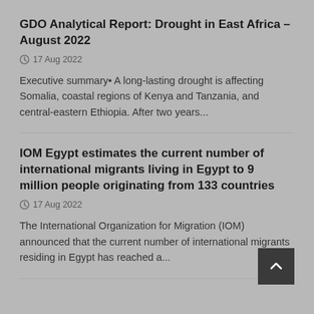GDO Analytical Report: Drought in East Africa – August 2022
17 Aug 2022
Executive summary• A long-lasting drought is affecting Somalia, coastal regions of Kenya and Tanzania, and central-eastern Ethiopia. After two years...
IOM Egypt estimates the current number of international migrants living in Egypt to 9 million people originating from 133 countries
17 Aug 2022
The International Organization for Migration (IOM) announced that the current number of international migrants residing in Egypt has reached a...